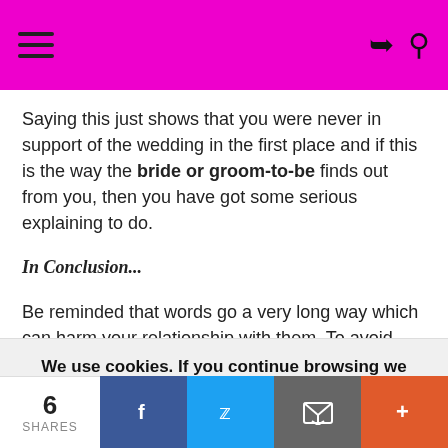Saying this just shows that you were never in support of the wedding in the first place and if this is the way the bride or groom-to-be finds out from you, then you have got some serious explaining to do.
In Conclusion...
Be reminded that words go a very long way which can harm your relationship with them. To avoid
We use cookies. If you continue browsing we consider you accept the use of cookies. Read Our Privacy Policy for More Info.
6 SHARES